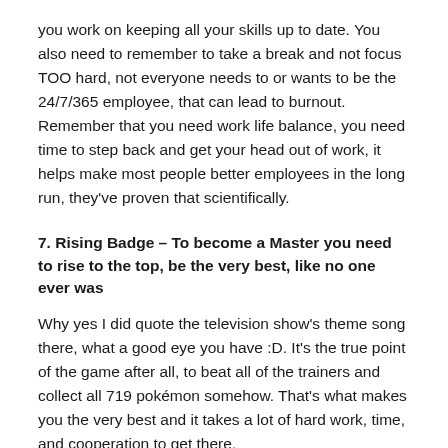you work on keeping all your skills up to date. You also need to remember to take a break and not focus TOO hard, not everyone needs to or wants to be the 24/7/365 employee, that can lead to burnout. Remember that you need work life balance, you need time to step back and get your head out of work, it helps make most people better employees in the long run, they’ve proven that scientifically.
7. Rising Badge – To become a Master you need to rise to the top, be the very best, like no one ever was
Why yes I did quote the television show's theme song there, what a good eye you have :D. It’s the true point of the game after all, to beat all of the trainers and collect all 719 pokémon somehow. That's what makes you the very best and it takes a lot of hard work, time, and cooperation to get there.